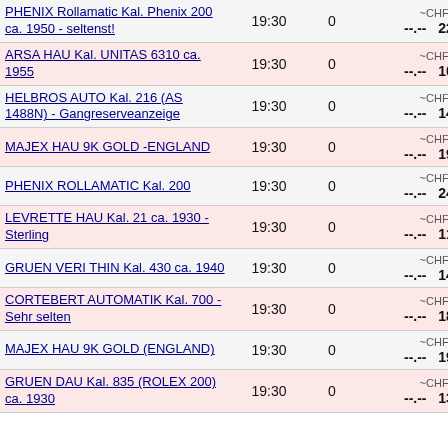| Item | Time | Bids | Price |
| --- | --- | --- | --- |
| PHENIX Rollamatic Kal. Phenix 200 ca. 1950 - seltenst! | 19:30 | 0 | ~CHF --.-- ~CHF 229.12 |
| ARSA HAU Kal. UNITAS 6310 ca. 1955 | 19:30 | 0 | ~CHF --.-- ~CHF 104.14 |
| HELBROS AUTO Kal. 216 (AS 1488N) - Gangreserveanzeige | 19:30 | 0 | ~CHF --.-- ~CHF 141.42 |
| MAJEX HAU 9K GOLD -ENGLAND | 19:30 | 0 | ~CHF --.-- ~CHF 196.23 |
| PHENIX ROLLAMATIC Kal. 200 | 19:30 | 0 | ~CHF --.-- ~CHF 240.08 |
| LEVRETTE HAU Kal. 21 ca. 1930 - Sterling | 19:30 | 0 | ~CHF --.-- ~CHF 119.49 |
| GRUEN VERI THIN Kal. 430 ca. 1940 | 19:30 | 0 | ~CHF --.-- ~CHF 141.42 |
| CORTEBERT AUTOMATIK Kal. 700 - Sehr selten | 19:30 | 0 | ~CHF --.-- ~CHF 185.27 |
| MAJEX HAU 9K GOLD (ENGLAND) | 19:30 | 0 | ~CHF --.-- ~CHF 196.23 |
| GRUEN DAU Kal. 835 (ROLEX 200) ca. 1930 | 19:30 | 0 | ~CHF --.-- ~CHF 137.03 |